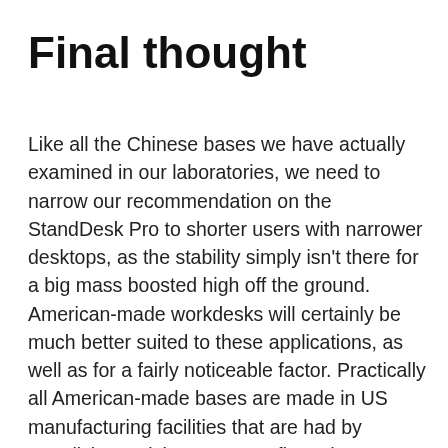Final thought
Like all the Chinese bases we have actually examined in our laboratories, we need to narrow our recommendation on the StandDesk Pro to shorter users with narrower desktops, as the stability simply isn't there for a big mass boosted high off the ground. American-made workdesks will certainly be much better suited to these applications, as well as for a fairly noticeable factor. Practically all American-made bases are made in US manufacturing facilities that are had by Swedish, Danish or German firms that invented this industry, and their ordinary people are a great deal taller than the typical